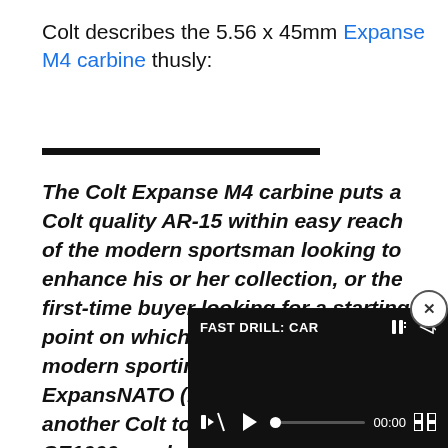Colt describes the 5.56 x 45mm Expanse M4 carbine thusly:
The Colt Expanse M4 carbine puts a Colt quality AR-15 within easy reach of the modern sportsman looking to enhance his or her collection, or the first-time buyer looking for a starting point on which to build their dream modern sporting rifle. Either way, the Expanse 5.56 NATO (.223 Rem.) is a... another Colt to the sta... CE1000 can be upgrad...
[Figure (screenshot): Video player overlay with black background showing 'FAST DRILL: CAR' title, mute icon, play button, progress bar at 00:00, and fullscreen button. A close (x) button appears at top-right.]